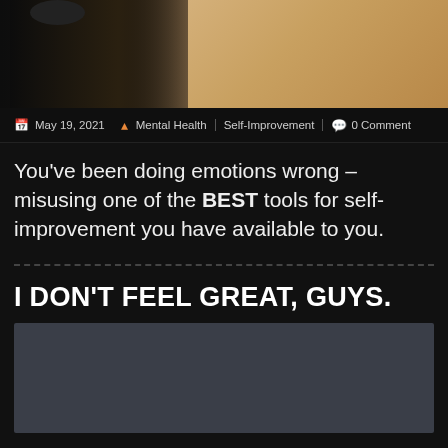[Figure (photo): Photo of a man looking down wearing a dark beanie hat, with a light-colored wall or object in the background]
May 19, 2021  |  Mental Health  Self-Improvement  | 0 Comment
You've been doing emotions wrong – misusing one of the BEST tools for self-improvement you have available to you.
I DON'T FEEL GREAT, GUYS.
[Figure (screenshot): Dark grey/blue placeholder rectangle, likely a video embed]